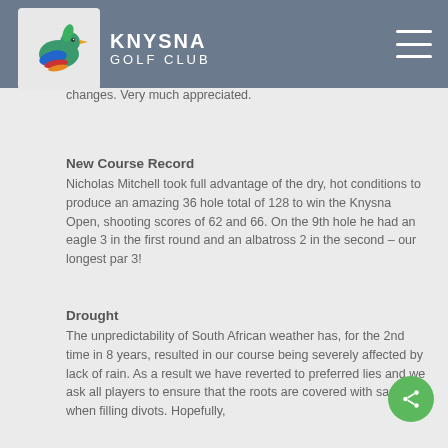KNYSNA GOLF CLUB
Swallows
A very warm welcome to all our returning migrants from the Northern Hemisphere. Thank you for all the positive feedback we have received regarding the course changes. Very much appreciated.
New Course Record
Nicholas Mitchell took full advantage of the dry, hot conditions to produce an amazing 36 hole total of 128 to win the Knysna Open, shooting scores of 62 and 66. On the 9th hole he had an eagle 3 in the first round and an albatross 2 in the second – our longest par 3!
Drought
The unpredictability of South African weather has, for the 2nd time in 8 years, resulted in our course being severely affected by lack of rain. As a result we have reverted to preferred lies and we ask all players to ensure that the roots are covered with sand when filling divots. Hopefully,